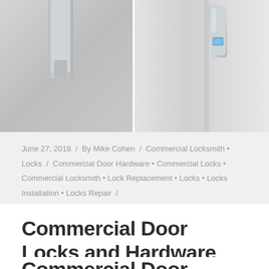[Figure (photo): Two photos of commercial door locks and hardware side by side. Left photo shows a door handle/lever mechanism from above. Right photo shows a modern commercial lock with a blue indicator light on a door edge.]
June 27, 2018 / By Mike Cohen / Commercial Locksmith • Locks / Commercial Door Hardware • Commercial Locks • Commercial Locksmith • Lock Replacement • Locks • Locks Installation • Locks Repair / 0 Comments
Commercial Door Locks and Hardware
Commercial Door Locks and